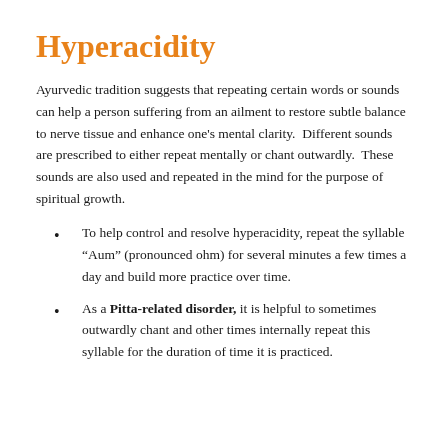Hyperacidity
Ayurvedic tradition suggests that repeating certain words or sounds can help a person suffering from an ailment to restore subtle balance to nerve tissue and enhance one’s mental clarity.  Different sounds are prescribed to either repeat mentally or chant outwardly.  These sounds are also used and repeated in the mind for the purpose of spiritual growth.
To help control and resolve hyperacidity, repeat the syllable “Aum” (pronounced ohm) for several minutes a few times a day and build more practice over time.
As a Pitta-related disorder, it is helpful to sometimes outwardly chant and other times internally repeat this syllable for the duration of time it is practiced.